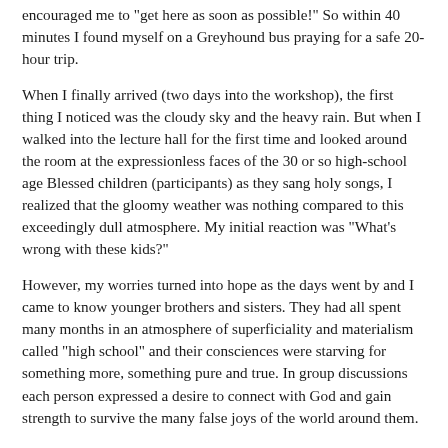encouraged me to "get here as soon as possible!" So within 40 minutes I found myself on a Greyhound bus praying for a safe 20-hour trip.
When I finally arrived (two days into the workshop), the first thing I noticed was the cloudy sky and the heavy rain. But when I walked into the lecture hall for the first time and looked around the room at the expressionless faces of the 30 or so high-school age Blessed children (participants) as they sang holy songs, I realized that the gloomy weather was nothing compared to this exceedingly dull atmosphere. My initial reaction was "What's wrong with these kids?"
However, my worries turned into hope as the days went by and I came to know younger brothers and sisters. They had all spent many months in an atmosphere of superficiality and materialism called "high school" and their consciences were starving for something more, something pure and true. In group discussions each person expressed a desire to connect with God and gain strength to survive the many false joys of the world around them.
Our motto was "Let us win the future with True Parents' tradition." We the staff (Keiha Kobayashi, Hyundo Seong, Eunha Stein, Mary Gowey and myself), centered on Yoon Sun Park (under regional director Rev. Lee), had to convey the heart of God, the importance of personal Divine Principle, the value of True Parents to all the